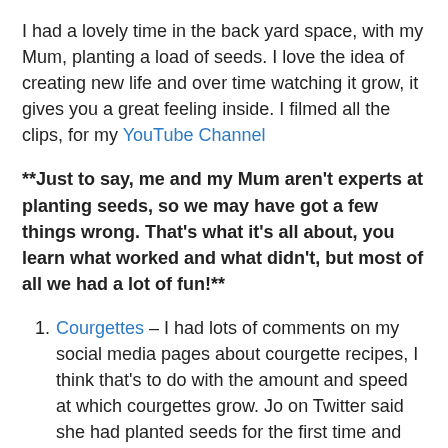I had a lovely time in the back yard space, with my Mum, planting a load of seeds. I love the idea of creating new life and over time watching it grow, it gives you a great feeling inside. I filmed all the clips, for my YouTube Channel
**Just to say, me and my Mum aren't experts at planting seeds, so we may have got a few things wrong. That's what it's all about, you learn what worked and what didn't, but most of all we had a lot of fun!**
Courgettes – I had lots of comments on my social media pages about courgette recipes, I think that's to do with the amount and speed at which courgettes grow. Jo on Twitter said she had planted seeds for the first time and was going to make her fav Hospice UK's